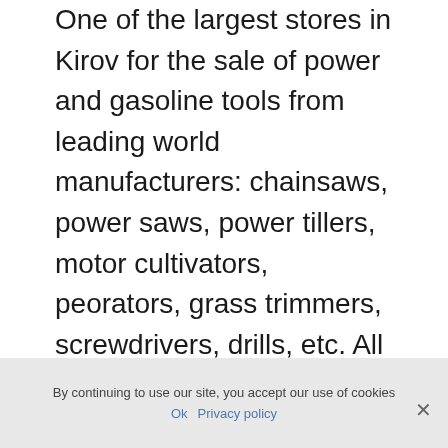One of the largest stores in Kirov for the sale of power and gasoline tools from leading world manufacturers: chainsaws, power saws, power tillers, motor cultivators, peorators, grass trimmers, screwdrivers, drills, etc. All tools are provided with warranty and post-warranty service in our own service center.
Benzoinstrument: chainsaws, motor blocks, motor cultivators, lawn mowers, trimmers for grass, car washes and much more. Spare parts for tools, spare parts for.
By continuing to use our site, you accept our use of cookies  Ok  Privacy policy